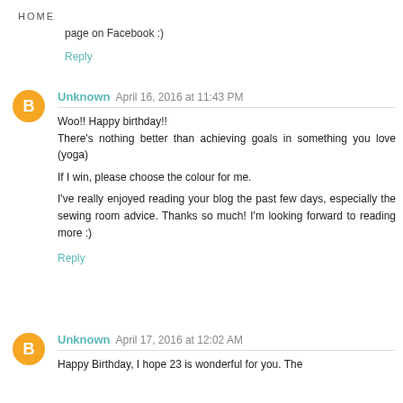HOME
page on Facebook :)
Reply
Unknown April 16, 2016 at 11:43 PM
Woo!! Happy birthday!!
There's nothing better than achieving goals in something you love (yoga)

If I win, please choose the colour for me.

I've really enjoyed reading your blog the past few days, especially the sewing room advice. Thanks so much! I'm looking forward to reading more :)
Reply
Unknown April 17, 2016 at 12:02 AM
Happy Birthday, I hope 23 is wonderful for you. The